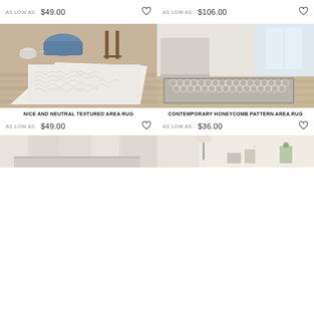AS LOW AS: $49.00
AS LOW AS: $106.00
[Figure (photo): White textured area rug on wood floor with chairs and watering can in background]
[Figure (photo): Grey and white honeycomb pattern area rug with upholstered chair in bright room]
NICE AND NEUTRAL TEXTURED AREA RUG
CONTEMPORARY HONEYCOMB PATTERN AREA RUG
AS LOW AS: $49.00
AS LOW AS: $36.00
[Figure (photo): Partial view of rug product with curtains in background]
[Figure (photo): Partial view of rug product with lamp and decor in background]